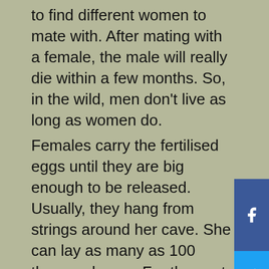to find different women to mate with. After mating with a female, the male will really die within a few months. So, in the wild, men don't live as long as women do.
Females carry the fertilised eggs until they are big enough to be released. Usually, they hang from strings around her cave. She can lay as many as 100 thousand eggs. For the next few months, the female protects he
Our website use cookies to improve and personalize your experience and to display advertisements(if any). Our website may also include cookies from third parties like Google Adsense, Google Analytics, Youtube. By using the website, you consent to the use of cookies. We have updated our Privacy Policy. Please click on the button to check our Privacy Policy.